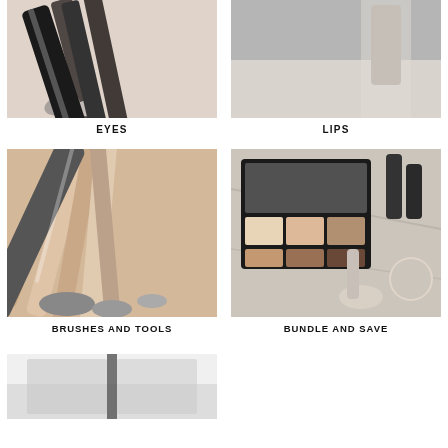[Figure (photo): Close-up photo of eye makeup brushes with black handles on a white background]
EYES
[Figure (photo): Close-up photo of lips product on a gray/marble surface]
LIPS
[Figure (photo): Flat lay of rose-gold makeup brushes and tools]
BRUSHES AND TOOLS
[Figure (photo): Eyeshadow palette with contour shades, lipsticks and powder brush on marble surface]
BUNDLE AND SAVE
[Figure (photo): Partial view of a bathroom or studio setting, partially visible at bottom of page]